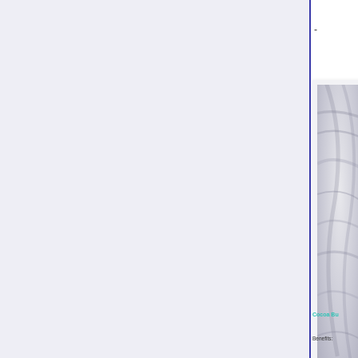-
[Figure (photo): Close-up black and white photograph of what appears to be a textured fabric or natural material with flowing curves]
Cocoa Bu
Benefits: